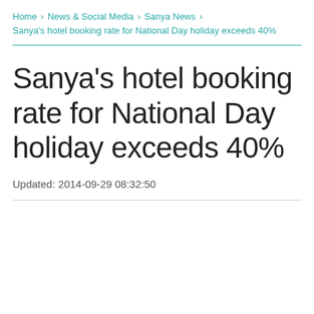Home › News & Social Media › Sanya News › Sanya's hotel booking rate for National Day holiday exceeds 40%
Sanya's hotel booking rate for National Day holiday exceeds 40%
Updated: 2014-09-29 08:32:50